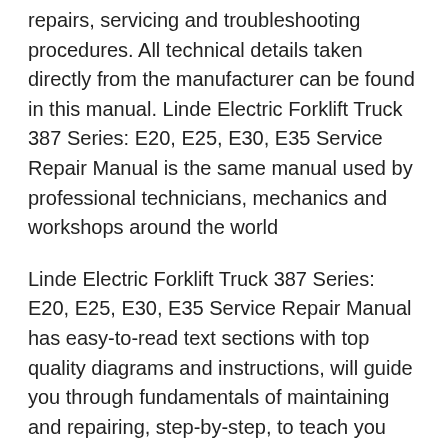repairs, servicing and troubleshooting procedures. All technical details taken directly from the manufacturer can be found in this manual. Linde Electric Forklift Truck 387 Series: E20, E25, E30, E35 Service Repair Manual is the same manual used by professional technicians, mechanics and workshops around the world
Linde Electric Forklift Truck 387 Series: E20, E25, E30, E35 Service Repair Manual has easy-to-read text sections with top quality diagrams and instructions, will guide you through fundamentals of maintaining and repairing, step-by-step, to teach you what the factory trained technicians already know by heart, Using this repair manual is an inexpensive way to keep your vehicle working properly.